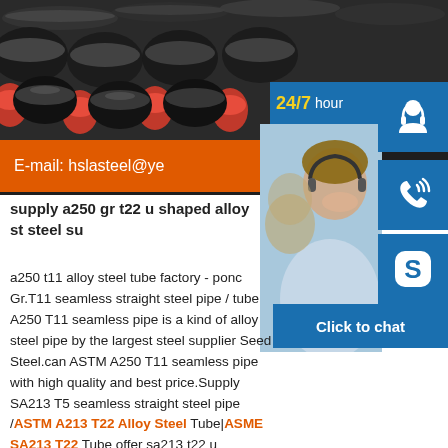[Figure (photo): Steel pipes/tubes stacked horizontally, black and red colored, industrial setting]
[Figure (photo): Customer service representatives with headsets, smiling, with 24/7 hour banner and blue icon buttons for headset, phone, Skype, and Click to chat]
E-mail: hslasteel@ye
supply a250 gr t22 u shaped alloy st steel su
a250 t11 alloy steel tube factory - ponc Gr.T11 seamless straight steel pipe / tube A250 T11 seamless pipe is a kind of alloy steel pipe by the largest steel supplier Seed Steel.can ASTM A250 T11 seamless pipe with high quality and best price.Supply SA213 T5 seamless straight steel pipe /ASTM A213 T22 Alloy Steel Tube|ASME SA213 T22 Tube offer sa213 t22 u